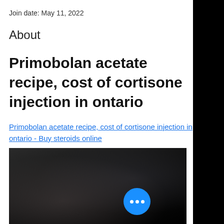Join date: May 11, 2022
About
Primobolan acetate recipe, cost of cortisone injection in ontario
Primobolan acetate recipe, cost of cortisone injection in ontario - Buy steroids online
[Figure (photo): Blurred dark photograph, partially obscured, with a floating action button overlay showing three dots]